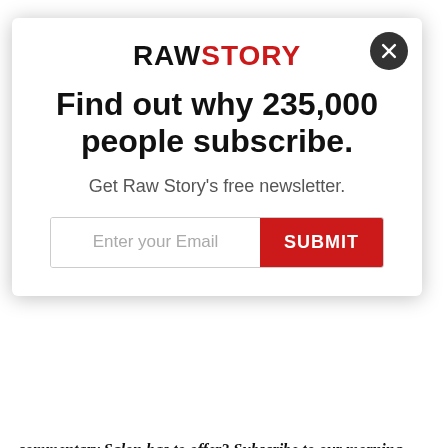[Figure (screenshot): Raw Story newsletter subscription modal popup with logo, headline 'Find out why 235,000 people subscribe.', subtitle 'Get Raw Story's free newsletter.', email input field and red SUBMIT button, with a close (X) button in top right corner.]
commentary Salon has to offer? Subscribe to our morning newsletter, Crash Course.
On Friday we heard reports that citizens of Uvalde, including at least one parent of a child who was killed, were outside the school yelling at armed police officers to go inside and take on the shooter